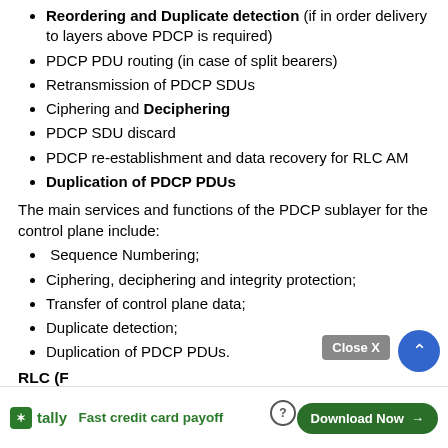Reordering and Duplicate detection (if in order delivery to layers above PDCP is required)
PDCP PDU routing (in case of split bearers)
Retransmission of PDCP SDUs
Ciphering and Deciphering
PDCP SDU discard
PDCP re-establishment and data recovery for RLC AM
Duplication of PDCP PDUs
The main services and functions of the PDCP sublayer for the control plane include:
Sequence Numbering;
Ciphering, deciphering and integrity protection;
Transfer of control plane data;
Duplicate detection;
Duplication of PDCP PDUs.
RLC (F